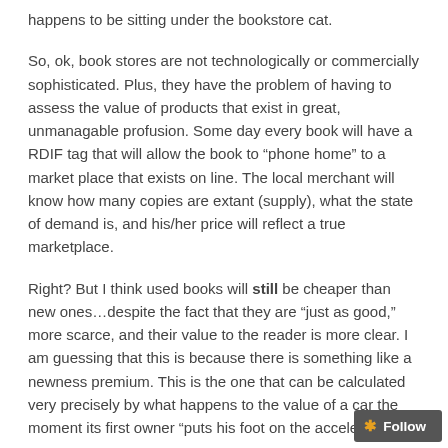happens to be sitting under the bookstore cat.
So, ok, book stores are not technologically or commercially sophisticated. Plus, they have the problem of having to assess the value of products that exist in great, unmanagable profusion. Some day every book will have a RDIF tag that will allow the book to “phone home” to a market place that exists on line. The local merchant will know how many copies are extant (supply), what the state of demand is, and his/her price will reflect a true marketplace.
Right? But I think used books will still be cheaper than new ones…despite the fact that they are “just as good,” more scarce, and their value to the reader is more clear. I am guessing that this is because there is something like a newness premium. This is the one that can be calculated very precisely by what happens to the value of a car the moment its first owner “puts his foot on the acceleration.”